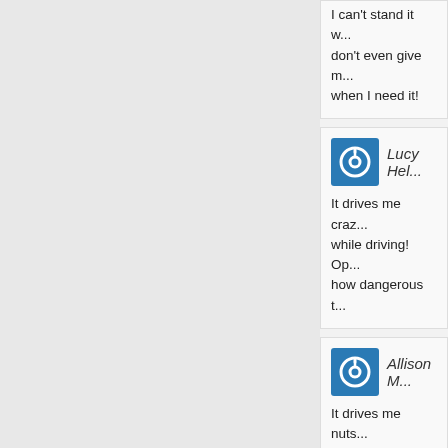I can't stand it w... don't even give m... when I need it!
Lucy Hel...
It drives me craz... while driving! Op... how dangerous t...
Allison M...
It drives me nuts... minutes to mess...
Gina Bu...